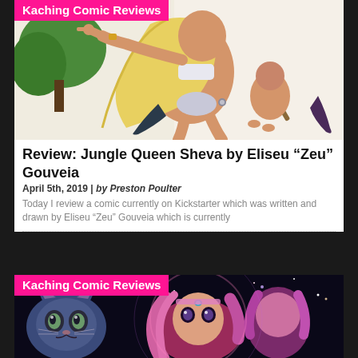[Figure (illustration): Kaching Comic Reviews banner over comic art showing a blonde female character in action pose (Jungle Queen Sheva) with wings and a weapon]
Review: Jungle Queen Sheva by Eliseu “Zeu” Gouveia
April 5th, 2019 | by Preston Poulter
Today I review a comic currently on Kickstarter which was written and drawn by Eliseu “Zeu” Gouveia which is currently
[Figure (illustration): Kaching Comic Reviews banner over comic art showing a pink-haired female character with cats in a colorful fantasy/cosmic setting]